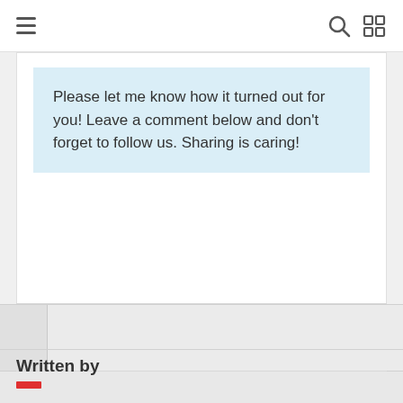Please let me know how it turned out for you! Leave a comment below and don't forget to follow us. Sharing is caring!
Written by